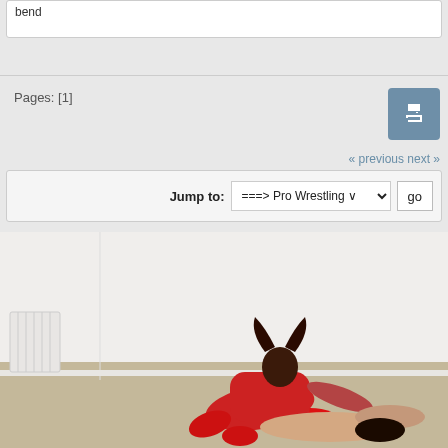bend
Pages: [1]
« previous next »
Jump to: ===> Pro Wrestling ∨  go
[Figure (photo): Two women wrestling on the floor of a white room. One woman dressed in red is on top of the other.]